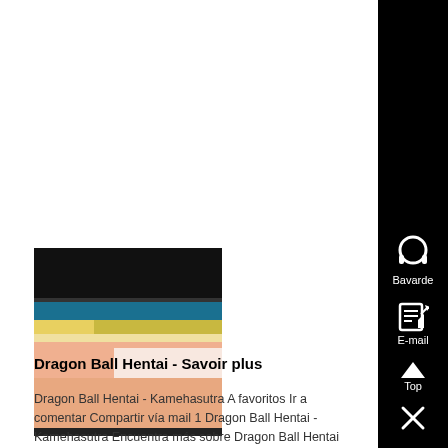[Figure (photo): Thumbnail image showing a close-up scene with dark bars at top and bottom, a strip of blue/yellow colors in the middle, and a pinkish-red foreground surface, appearing to be from an animated or manga-style scene.]
Dragon Ball Hentai - Savoir plus
Dragon Ball Hentai - Kamehasutra A favoritos Ir a comentar Compartir vía mail 1 Dragon Ball Hentai - Kamehasutra Encuentra más sobre Dragon Ball Hentai en ....
[Figure (screenshot): Sidebar with black background showing headphone icon labeled 'Bavarde', email/document icon labeled 'E-mail', a Top button with triangle icon, and a close X button.]